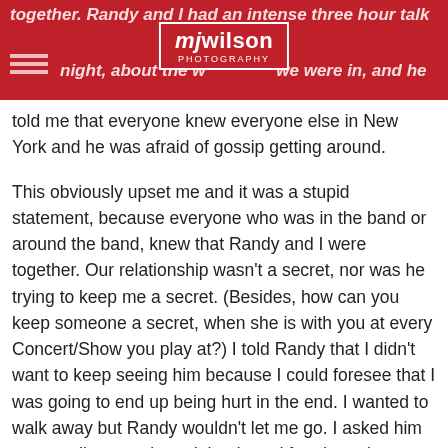together. Randy and I had an intense three hour talk that night, about the war we were in, and he told me that everyone knew everyone else in New York and he was afraid of gossip getting around.
[Figure (logo): mj wilson PHOTOGRAPHY logo in white text on red background with white border]
This obviously upset me and it was a stupid statement, because everyone who was in the band or around the band, knew that Randy and I were together. Our relationship wasn't a secret, nor was he trying to keep me a secret. (Besides, how can you keep someone a secret, when she is with you at every Concert/Show you play at?) I told Randy that I didn't want to keep seeing him because I could foresee that I was going to end up being hurt in the end. I wanted to walk away but Randy wouldn't let me go. I asked him not to call me again and that lasted for about three days. Then Randy was on the phone calling me again and arranging his next visit.
On November 12th, Randy asked me to move to New York...